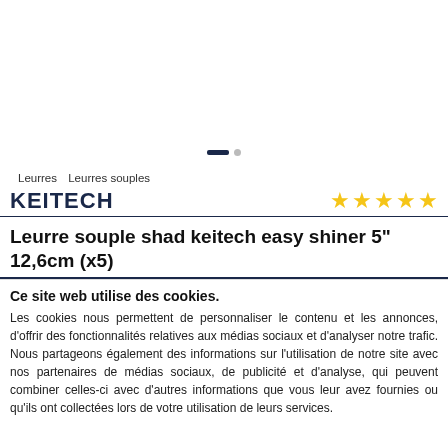[Figure (other): Product image area with carousel navigation dots (one active dark blue rectangle, one small grey circle)]
Leurres   Leurres souples
[Figure (logo): KEITECH brand logo in bold dark navy uppercase text]
★★★★★ (5 stars)
Leurre souple shad keitech easy shiner 5" 12,6cm (x5)
Ce site web utilise des cookies.
Les cookies nous permettent de personnaliser le contenu et les annonces, d'offrir des fonctionnalités relatives aux médias sociaux et d'analyser notre trafic. Nous partageons également des informations sur l'utilisation de notre site avec nos partenaires de médias sociaux, de publicité et d'analyse, qui peuvent combiner celles-ci avec d'autres informations que vous leur avez fournies ou qu'ils ont collectées lors de votre utilisation de leurs services.